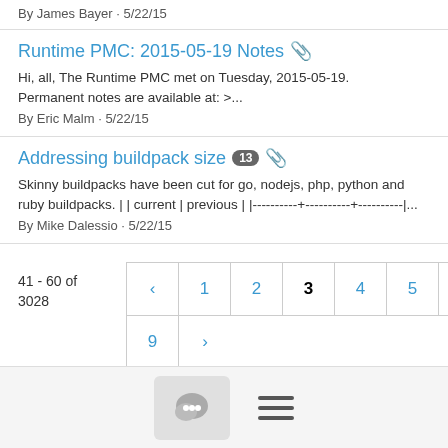By James Bayer · 5/22/15
Runtime PMC: 2015-05-19 Notes 📎
Hi, all, The Runtime PMC met on Tuesday, 2015-05-19. Permanent notes are available at: >...
By Eric Malm · 5/22/15
Addressing buildpack size 13 📎
Skinny buildpacks have been cut for go, nodejs, php, python and ruby buildpacks. | | current | previous | |----------+----------+----------|...
By Mike Dalessio · 5/22/15
41 - 60 of 3028
Pagination: < 1 2 3 4 5 6 7 8 9 >